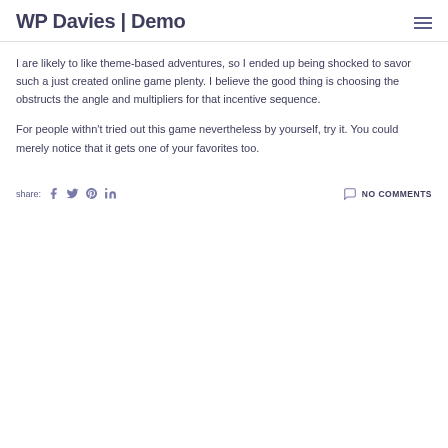WP Davies | Demo
I are likely to like theme-based adventures, so I ended up being shocked to savor such a just created online game plenty. I believe the good thing is choosing the obstructs the angle and multipliers for that incentive sequence.
For people withn't tried out this game nevertheless by yourself, try it. You could merely notice that it gets one of your favorites too.
share:  f  t  p  in    NO COMMENTS